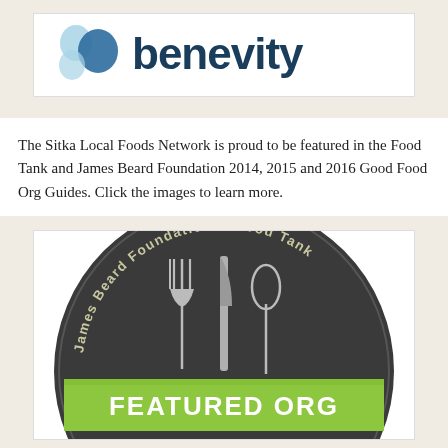[Figure (logo): Benevity logo — blue teardrop shapes on left, dark blue 'benevity' wordmark text on right]
The Sitka Local Foods Network is proud to be featured in the Food Tank and James Beard Foundation 2014, 2015 and 2016 Good Food Org Guides. Click the images to learn more.
[Figure (logo): James Beard Foundation & Food Tank circular badge with fork, knife, spoon illustration on dark background and green ribbon banner reading 'FEATURED ORG']